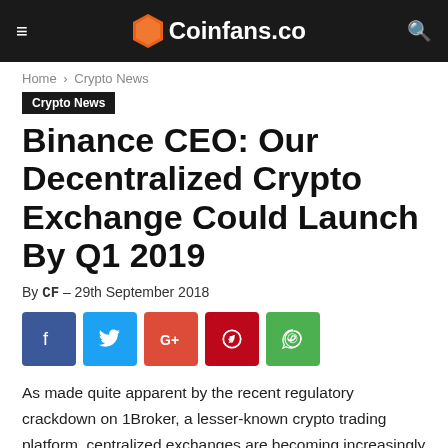Coinfans.co
Home › Crypto News
Crypto News
Binance CEO: Our Decentralized Crypto Exchange Could Launch By Q1 2019
By CF – 29th September 2018
[Figure (other): Social sharing buttons: Facebook, Twitter, Google+, Pinterest, WhatsApp]
As made quite apparent by the recent regulatory crackdown on 1Broker, a lesser-known crypto trading platform, centralized exchanges are becoming increasingly susceptible